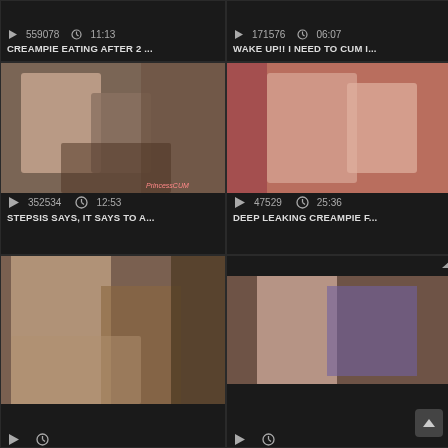559078   11:13
CREAMPIE EATING AFTER 2 ...
171576   06:07
WAKE UP!! I NEED TO CUM I...
[Figure (photo): Adult video thumbnail - blonde woman on bed]
[Figure (photo): Adult video thumbnail - brunette woman on pink couch]
352534   12:53
STEPSIS SAYS, IT SAYS TO A...
47529   25:36
DEEP LEAKING CREAMPIE F...
[Figure (photo): Adult video thumbnail - woman on brown couch]
[Figure (photo): Adult video thumbnail - blonde woman on purple surface]